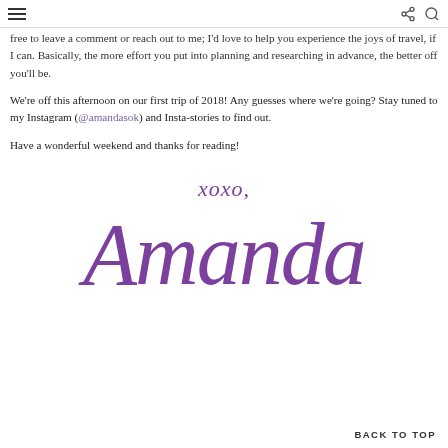[hamburger menu] [share icon] [search icon]
free to leave a comment or reach out to me; I'd love to help you experience the joys of travel, if I can. Basically, the more effort you put into planning and researching in advance, the better off you'll be.
We're off this afternoon on our first trip of 2018! Any guesses where we're going? Stay tuned to my Instagram (@amandasok) and Insta-stories to find out.
Have a wonderful weekend and thanks for reading!
[Figure (illustration): Handwritten cursive signature in purple reading 'xoxo, Amanda']
BACK TO TOP